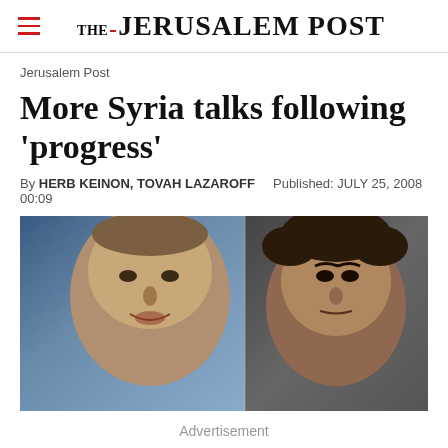THE JERUSALEM POST
Jerusalem Post
More Syria talks following 'progress'
By HERB KEINON, TOVAH LAZAROFF  Published: JULY 25, 2008 00:09
[Figure (photo): Split image showing two men: on the left, an older man (Ehud Olmert) speaking, on the right, a younger man (Bashar al-Assad) looking serious.]
Advertisement